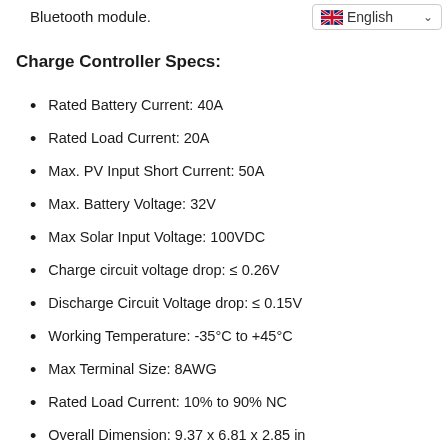Bluetooth module.
Charge Controller Specs:
Rated Battery Current: 40A
Rated Load Current: 20A
Max. PV Input Short Current: 50A
Max. Battery Voltage: 32V
Max Solar Input Voltage: 100VDC
Charge circuit voltage drop: ≤ 0.26V
Discharge Circuit Voltage drop: ≤ 0.15V
Working Temperature: -35°C to +45°C
Max Terminal Size: 8AWG
Rated Load Current: 10% to 90% NC
Overall Dimension: 9.37 x 6.81 x 2.85 in
Net Weight: 4.41 lb